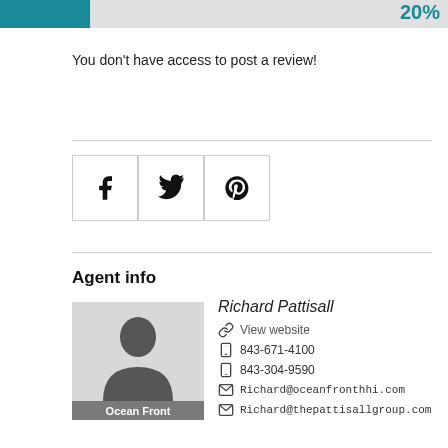[Figure (infographic): Progress bar showing 20% completion with teal fill and '20%' label on the right]
You don't have access to post a review!
[Figure (infographic): Three social media icon buttons in bordered boxes: Facebook (f), Twitter (bird), Pinterest (P)]
Agent info
[Figure (photo): Default user silhouette avatar placeholder with gray background and 'Ocean Front' caption at bottom]
Richard Pattisall
View website
843-671-4100
843-304-9590
Richard@oceanfronthhi.com
Richard@thepattisallgroup.com